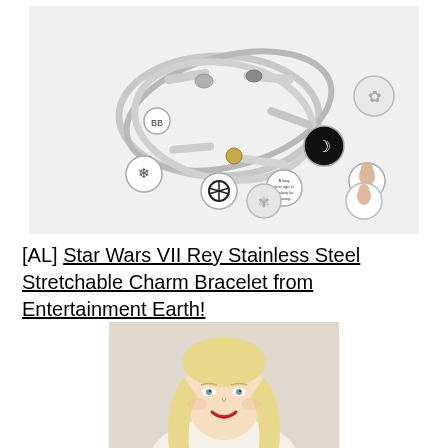[Figure (photo): Star Wars VII Rey Stainless Steel Stretchable Charm Bracelet — silver metal bangle bracelet set with multiple circular charms including Rebel Alliance symbol, Rey portrait, snowflake, and text charm reading 'A long time ago in a galaxy far, far away...']
[AL] Star Wars VII Rey Stainless Steel Stretchable Charm Bracelet from Entertainment Earth!
[Figure (photo): Head and shoulders photo of a blonde woman with blue eyes, wearing red lipstick, smiling at camera]